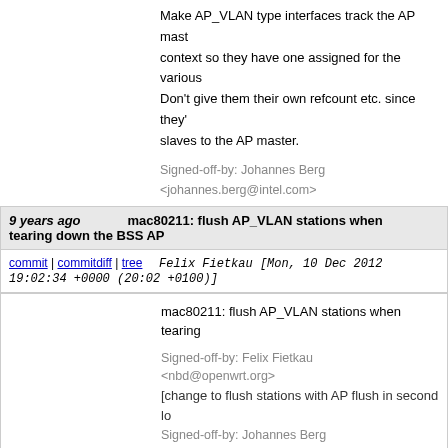Make AP_VLAN type interfaces track the AP master's net_device net_ns context so they have one assigned for the various callbacks. Don't give them their own refcount etc. since they're slaves to the AP master.

Signed-off-by: Johannes Berg <johannes.berg@intel.com>
9 years ago   mac80211: flush AP_VLAN stations when tearing down the BSS AP
commit | commitdiff | tree   Felix Fietkau [Mon, 10 Dec 2012 19:02:34 +0000 (20:02 +0100)]
mac80211: flush AP_VLAN stations when tearing

Signed-off-by: Felix Fietkau <nbd@openwrt.org>
[change to flush stations with AP flush in second lo
Signed-off-by: Johannes Berg <johannes.berg@intel.com>
9 years ago   mac80211: fix ibss scanning
commit | commitdiff | tree   Stanislaw Gruszka [Tue, 11 Dec 2012 09:48:23 +0000 (10:48 +0100)]
mac80211: fix ibss scanning

Do not scan on no-